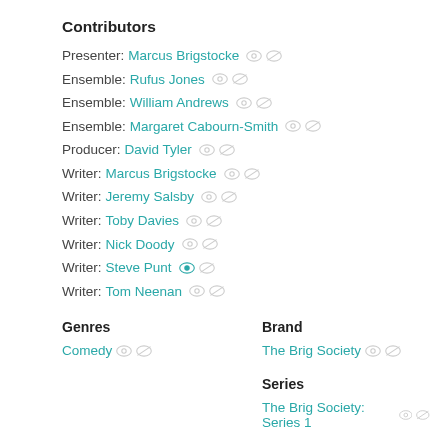Contributors
Presenter: Marcus Brigstocke
Ensemble: Rufus Jones
Ensemble: William Andrews
Ensemble: Margaret Cabourn-Smith
Producer: David Tyler
Writer: Marcus Brigstocke
Writer: Jeremy Salsby
Writer: Toby Davies
Writer: Nick Doody
Writer: Steve Punt
Writer: Tom Neenan
Genres
Brand
Comedy
The Brig Society
Series
The Brig Society: Series 1